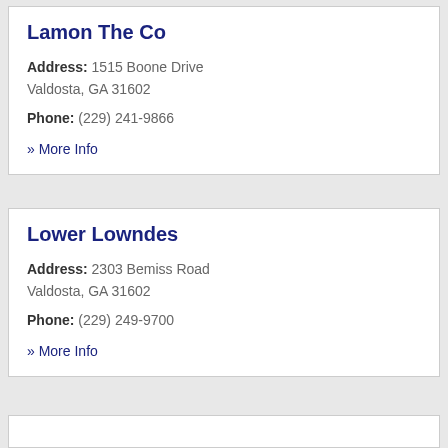Lamon The Co
Address: 1515 Boone Drive Valdosta, GA 31602
Phone: (229) 241-9866
» More Info
Lower Lowndes
Address: 2303 Bemiss Road Valdosta, GA 31602
Phone: (229) 249-9700
» More Info